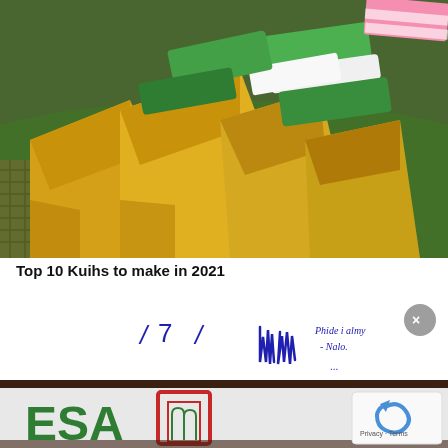[Figure (photo): Close-up photo of colorful Asian kuih (traditional cakes/sweets): yellow, green, white, and pink-striped pieces arranged on a green banana leaf in a woven basket.]
Top 10 Kuihs to make in 2021
[Figure (photo): Composite image showing: handwritten blue-ink text/signature with numbers '1 7 1' and cursive writing reading approximately 'Phide i almy - Nalo.' on white paper, overlaid on a photo of a green 'ESA' sign with a red-framed logo. A grey circle with X (close button) is in the top right. A reCAPTCHA badge with 'Privacy - Terms' text appears in the bottom right.]